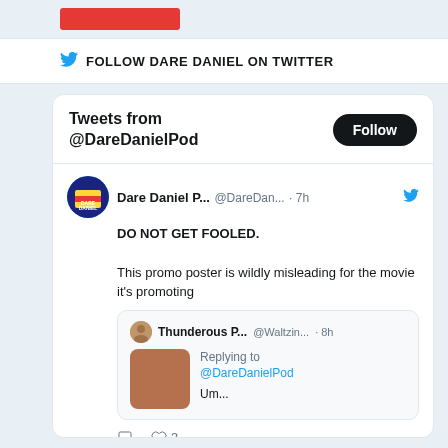[Figure (screenshot): Red button in top bar area]
FOLLOW DARE DANIEL ON TWITTER
[Figure (screenshot): Twitter widget showing Tweets from @DareDanielPod with a Follow button, a tweet by Dare Daniel P... @DareDan... 7h saying DO NOT GET FOOLED. This promo poster is wildly misleading for the movie it's promoting, quoting Thunderous P... @Waltzin... 8h Replying to @DareDanielPod Um...]
DO NOT GET FOOLED.
This promo poster is wildly misleading for the movie it's promoting
Replying to @DareDanielPod Um...